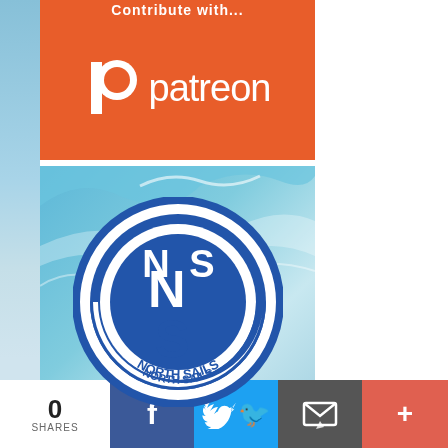[Figure (logo): Patreon logo on orange background with partial text above]
[Figure (logo): North Sails logo - blue circle with NS initials and NORTH SAILS text on ocean wave background]
0 SHARES
[Figure (infographic): Social share bar with Facebook, Twitter, Email, and More buttons]